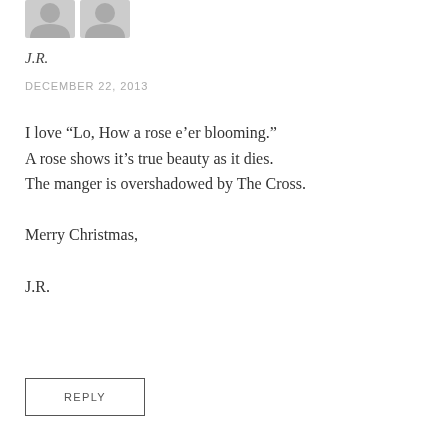[Figure (illustration): Two grey avatar/profile placeholder icons side by side at the top]
J.R.
DECEMBER 22, 2013
I love “Lo, How a rose e’er blooming.”
A rose shows it’s true beauty as it dies.
The manger is overshadowed by The Cross.

Merry Christmas,

J.R.
REPLY